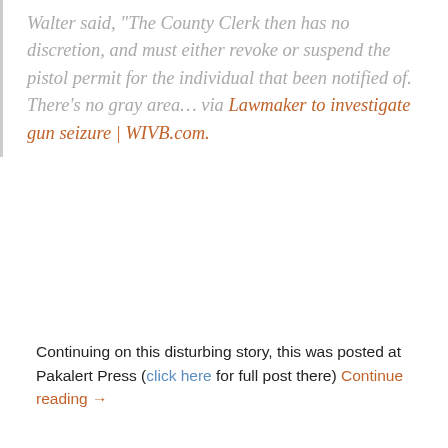Walter said, "The County Clerk then has no discretion, and must either revoke or suspend the pistol permit for the individual that been notified of. There's no gray area... via Lawmaker to investigate gun seizure | WIVB.com.
Continuing on this disturbing story, this was posted at Pakalert Press (click here for full post there) Continue reading →
Spread the idea please:
3 bloggers like this.